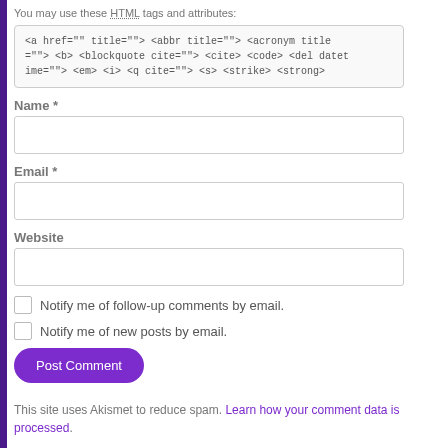You may use these HTML tags and attributes:
<a href="" title=""> <abbr title=""> <acronym title=""> <b> <blockquote cite=""> <cite> <code> <del datetime=""> <em> <i> <q cite=""> <s> <strike> <strong>
Name *
Email *
Website
Notify me of follow-up comments by email.
Notify me of new posts by email.
Post Comment
This site uses Akismet to reduce spam. Learn how your comment data is processed.